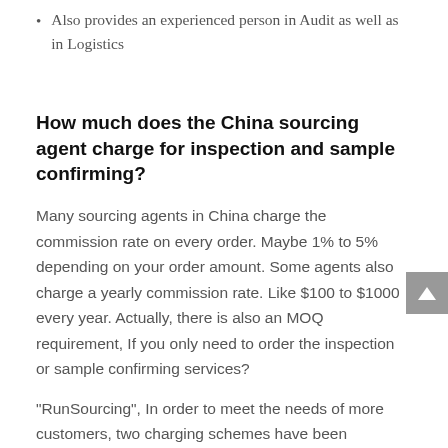Also provides an experienced person in Audit as well as in Logistics
How much does the China sourcing agent charge for inspection and sample confirming?
Many sourcing agents in China charge the commission rate on every order. Maybe 1% to 5% depending on your order amount. Some agents also charge a yearly commission rate. Like $100 to $1000 every year. Actually, there is also an MOQ requirement, If you only need to order the inspection or sample confirming services?
“RunSourcing”, In order to meet the needs of more customers, two charging schemes have been developed.